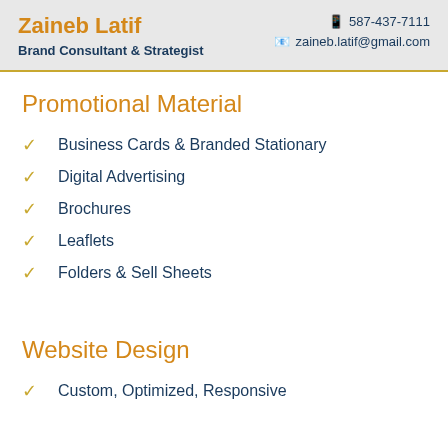Zaineb Latif
Brand Consultant & Strategist
587-437-7111
zaineb.latif@gmail.com
Promotional Material
Business Cards & Branded Stationary
Digital Advertising
Brochures
Leaflets
Folders & Sell Sheets
Website Design
Custom, Optimized, Responsive